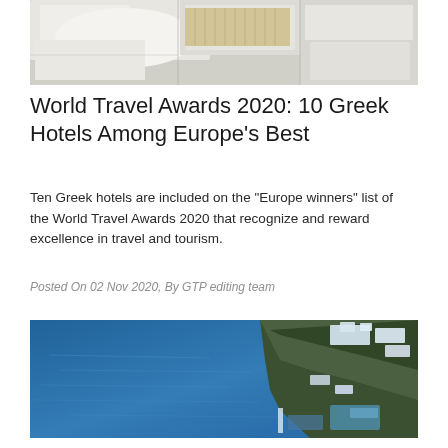[Figure (photo): Aerial view of white buildings with flat roofs, likely a Greek island architecture, viewed from above]
World Travel Awards 2020: 10 Greek Hotels Among Europe’s Best
Ten Greek hotels are included on the "Europe winners" list of the World Travel Awards 2020 that recognize and reward excellence in travel and tourism.
Posted On 02 Nov 2020, By GTP editing team
[Figure (photo): Aerial view of a coastal resort with blue sea water and rocky coastline with buildings and amenities]